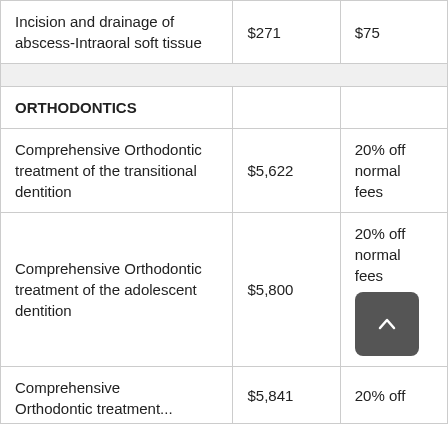| Service | Fee | Discount |
| --- | --- | --- |
| Incision and drainage of abscess-Intraoral soft tissue | $271 | $75 |
| ORTHODONTICS |  |  |
| Comprehensive Orthodontic treatment of the transitional dentition | $5,622 | 20% off normal fees |
| Comprehensive Orthodontic treatment of the adolescent dentition | $5,800 | 20% off normal fees |
| Comprehensive Orthodontic treatment of... | $5,841 | 20% off |